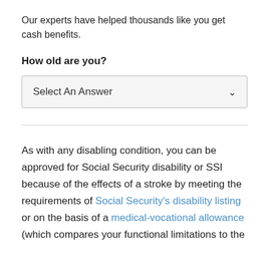Our experts have helped thousands like you get cash benefits.
How old are you?
Select An Answer
As with any disabling condition, you can be approved for Social Security disability or SSI because of the effects of a stroke by meeting the requirements of Social Security's disability listing or on the basis of a medical-vocational allowance (which compares your functional limitations to the